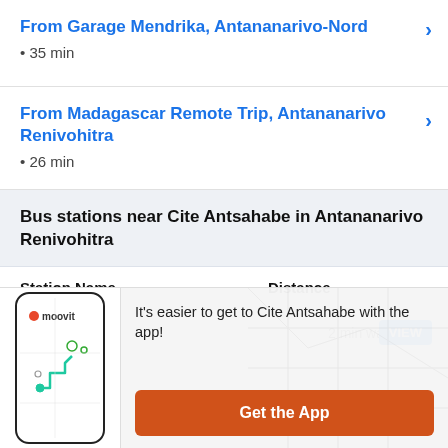From Garage Mendrika, Antananarivo-Nord • 35 min
From Madagascar Remote Trip, Antananarivo Renivohitra • 26 min
Bus stations near Cite Antsahabe in Antananarivo Renivohitra
| Station Name | Distance |
| --- | --- |
|  | 2 min walk |
[Figure (screenshot): Moovit app screenshot showing a route map on a phone]
It's easier to get to Cite Antsahabe with the app!
Get the App